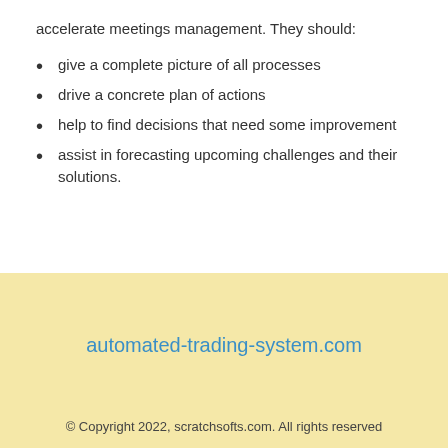accelerate meetings management. They should:
give a complete picture of all processes
drive a concrete plan of actions
help to find decisions that need some improvement
assist in forecasting upcoming challenges and their solutions.
automated-trading-system.com
© Copyright 2022, scratchsofts.com. All rights reserved